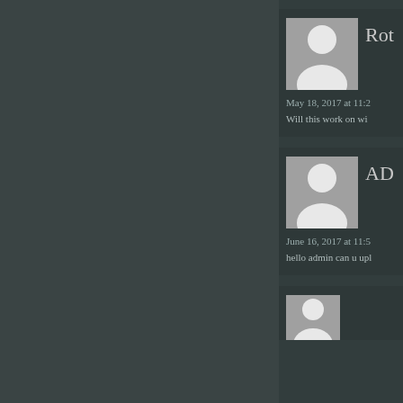[Figure (screenshot): A website comment section shown as a dark-themed UI. Two visible comment cards on the right side of the page. First comment from a user whose name starts with 'Rot', posted 'May 18, 2017 at 11:2...' with text 'Will this work on wi...'. Second comment labeled 'AD...' posted 'June 16, 2017 at 11:5...' with text 'hello admin can u upl...'. A third partial card is visible at the bottom. Each card has a generic gray user avatar placeholder. The left portion of the page is a dark sidebar/background.]